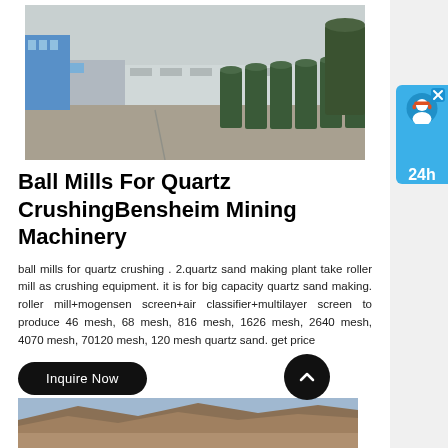[Figure (photo): Outdoor industrial facility showing rows of large dark green cylindrical tanks/vessels lined up along a paved road, with factory buildings in the background. Gray sky overhead.]
Ball Mills For Quartz CrushingBensheim Mining Machinery
ball mills for quartz crushing . 2.quartz sand making plant take roller mill as crushing equipment. it is for big capacity quartz sand making. roller mill+mogensen screen+air classifier+multilayer screen to produce 46 mesh, 68 mesh, 816 mesh, 1626 mesh, 2640 mesh, 4070 mesh, 70120 mesh, 120 mesh quartz sand. get price
[Figure (photo): Landscape photo of a quarry or open-pit mine with excavated terrain and blue sky.]